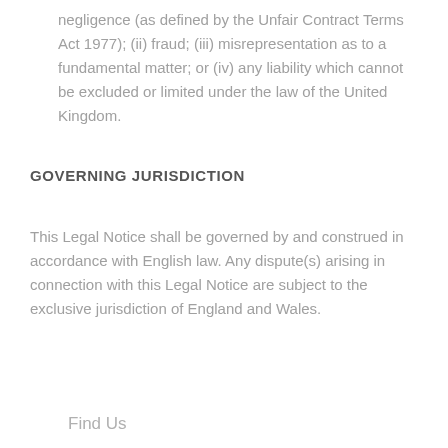negligence (as defined by the Unfair Contract Terms Act 1977); (ii) fraud; (iii) misrepresentation as to a fundamental matter; or (iv) any liability which cannot be excluded or limited under the law of the United Kingdom.
GOVERNING JURISDICTION
This Legal Notice shall be governed by and construed in accordance with English law. Any dispute(s) arising in connection with this Legal Notice are subject to the exclusive jurisdiction of England and Wales.
Find Us